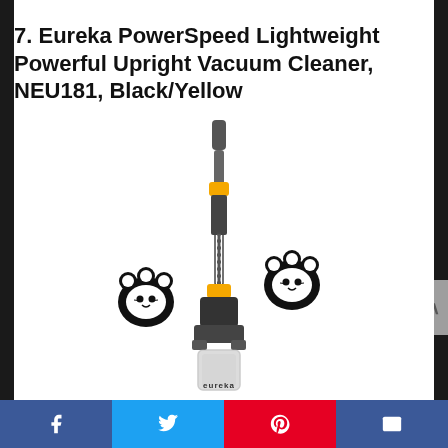7. Eureka PowerSpeed Lightweight Powerful Upright Vacuum Cleaner, NEU181, Black/Yellow
[Figure (photo): Eureka PowerSpeed NEU181 upright vacuum cleaner in black and yellow, shown assembled with hose and handle. Two decorative paw print icons with pet faces visible beside the vacuum body.]
Facebook | Twitter | Pinterest | Email